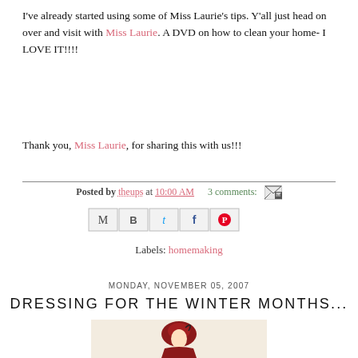I've already started using some of Miss Laurie's tips. Y'all just head on over and visit with Miss Laurie. A DVD on how to clean your home- I LOVE IT!!!!
Thank you, Miss Laurie, for sharing this with us!!!
Posted by theups at 10:00 AM   3 comments:
[Figure (other): Share buttons row: email, blogger, twitter, facebook, pinterest]
Labels: homemaking
MONDAY, NOVEMBER 05, 2007
DRESSING FOR THE WINTER MONTHS...
[Figure (illustration): Illustration of a woman in a red winter bonnet and red dress, Victorian style, against a cream background]